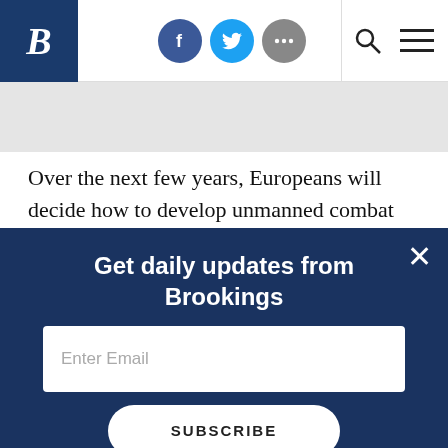Brookings Institution website header with logo, social icons (Facebook, Twitter, more), search and menu icons
Over the next few years, Europeans will decide how to develop unmanned combat aircraft and other sophisticated drones. It is still unclear how governments will proceed. France and Britain have announced plans to develop next generation drones
Get daily updates from Brookings
Enter Email
SUBSCRIBE